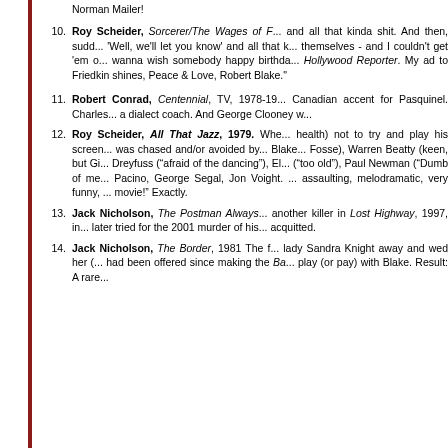Norman Mailer!
Roy Scheider, Sorcerer/The Wages of F... and all that kinda shit. And then, sudd... 'Well, we'll let you know' and all that k... themselves - and I couldn't get 'em o... wanna wish somebody happy birthda... Hollywood Reporter. My ad to Friedkin shines, Peace & Love, Robert Blake."
Robert Conrad, Centennial, TV, 1978-19... Canadian accent for Pasquinel. Charles... a dialect coach. And George Clooney w...
Roy Scheider, All That Jazz, 1979. Whe... health) not to try and play his screen... was chased and/or avoided by... Blake... Fosse), Warren Beatty (keen, but Gi... Dreyfuss (“afraid of the dancing”), El... (“too old”), Paul Newman (“Dumb of me... Pacino, George Segal, Jon Voight. ... assaulting, melodramatic, very funny, ... movie!” Exactly.
Jack Nicholson, The Postman Always... another killer in Lost Highway, 1997, in... later tried for the 2001 murder of his... acquitted.
Jack Nicholson, The Border, 1981 The f... lady Sandra Knight away and wed her (... had been offered since making the Ba... play (or pay) with Blake. Result: A rare...